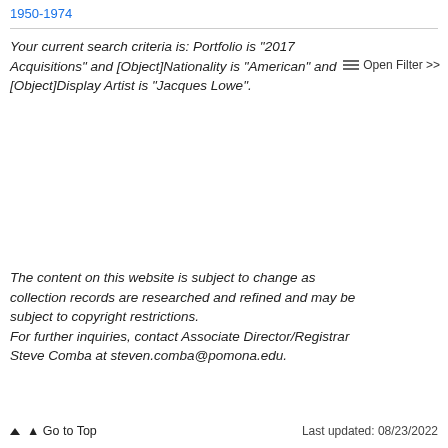1950-1974
≡ Open Filter >>
Your current search criteria is: Portfolio is "2017 Acquisitions" and [Object]Nationality is "American" and [Object]Display Artist is "Jacques Lowe".
The content on this website is subject to change as collection records are researched and refined and may be subject to copyright restrictions.
For further inquiries, contact Associate Director/Registrar Steve Comba at steven.comba@pomona.edu.
↑ Go to Top    Last updated: 08/23/2022